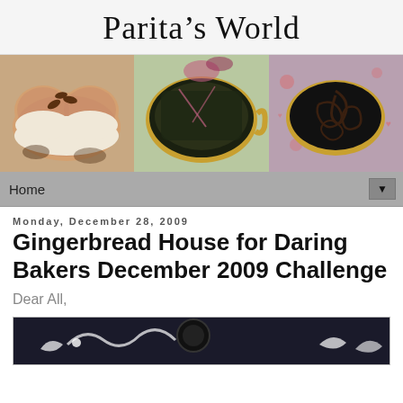Parita's World
[Figure (photo): Blog header banner with three food photos: heart-shaped tiramisu cake with chocolate leaves, dark leafy dish in a brass bowl, and a round chocolate dish on a decorative surface]
Home ▼
Monday, December 28, 2009
Gingerbread House for Daring Bakers December 2009 Challenge
Dear All,
[Figure (photo): Bottom partial photo strip showing a dark gingerbread house scene]